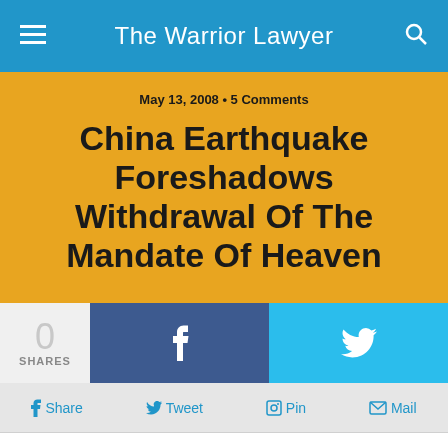The Warrior Lawyer
May 13, 2008 • 5 Comments
China Earthquake Foreshadows Withdrawal Of The Mandate Of Heaven
0 SHARES
f  Share   Tweet   Pin   Mail
But probably not.
It's eerie just the same. Manolo Quezon wrote about